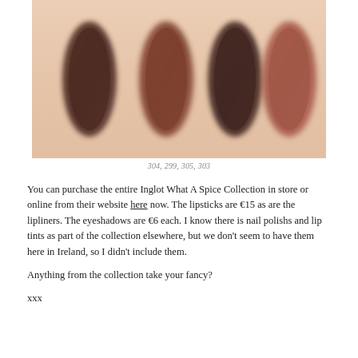[Figure (photo): Four lipstick/eyeshadow swatches on skin: dark brown (304), medium reddish-brown (299), dark brown (305), and terracotta/rust (303), arranged left to right on a pale skin background.]
304, 299, 305, 303
You can purchase the entire Inglot What A Spice Collection in store or online from their website here now. The lipsticks are €15 as are the lipliners. The eyeshadows are €6 each. I know there is nail polishs and lip tints as part of the collection elsewhere, but we don't seem to have them here in Ireland, so I didn't include them.
Anything from the collection take your fancy?
xxx